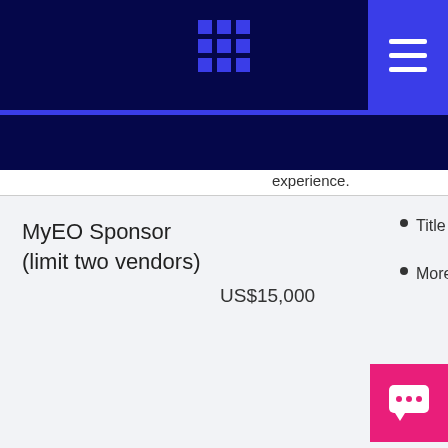Navigation header with grid icon and hamburger menu
experience.
| Sponsorship | Cost | Benefits |
| --- | --- | --- |
| MyEO Sponsor (limit two vendors) | US$15,000 | Title sponsor of the MyEO event
More details to be shared so... |
| Booth at GLC Venue | US$10,000 | Visibility and access to members during coffee and lunch breaks |